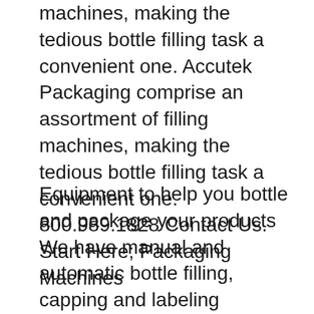machines, making the tedious bottle filling task a convenient one. Accutek Packaging comprise an assortment of filling machines, making the tedious bottle filling task a convenient one. 800.989.1828 Contact Us. Start Here; Packaging Machines
Equipment to help you bottle and package your products We have manual and automatic bottle filling, capping and labeling machines and a wide range of closures and packaging options to suit your requirements. We sell a variety of cork and plastic closures as well as PVC heat shrink capsules and bottle sealing wax. We have [вЂ¦] Bottle Filling Solutions for Vintners. Wine Bottle Filler Machines XpressFill serves many